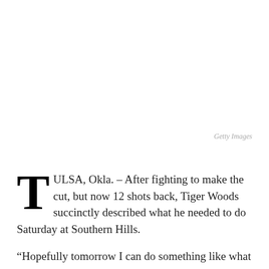Getty Images
TULSA, Okla. – After fighting to make the cut, but now 12 shots back, Tiger Woods succinctly described what he needed to do Saturday at Southern Hills.
“Hopefully tomorrow I can do something like what Bubba did today,” Woods said.